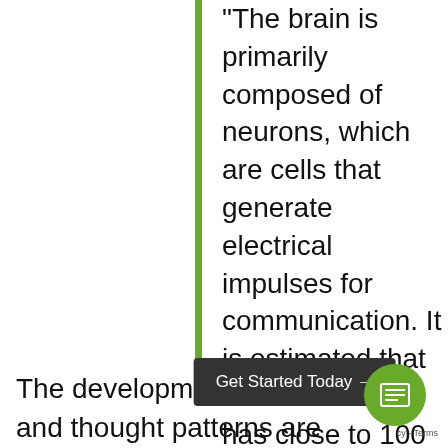"The brain is primarily composed of neurons, which are cells that generate electrical impulses for communication. It is estimated that the human brain has close to 100 billion neurons. Neurons release brain chemicals, known as neurotransmitters, which generate these electrical signals in neighboring neurons. The electrical signals propagate like a wave to thousands of neurons, which leads to thought formation." – Lina Begdache
The development of thoughts and thought patterns are comparable to a fire. Our environmental factors (such as child rearing (nurture), relationships, social media, spirituality and religion,